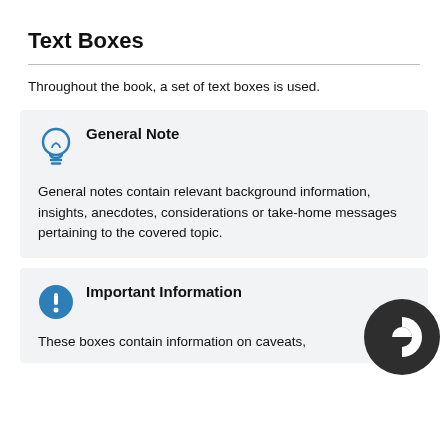Text Boxes
Throughout the book, a set of text boxes is used.
[Figure (infographic): General Note box with lightbulb icon. Text: General notes contain relevant background information, insights, anecdotes, considerations or take-home messages pertaining to the covered topic.]
[Figure (infographic): Important Information box with exclamation mark icon. Text: These boxes contain information on caveats, ...]